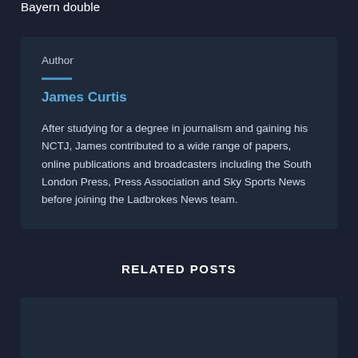Bayern double
Author
James Curtis
After studying for a degree in journalism and gaining his NCTJ, James contributed to a wide range of papers, online publications and broadcasters including the South London Press, Press Association and Sky Sports News before joining the Ladbrokes News team.
RELATED POSTS